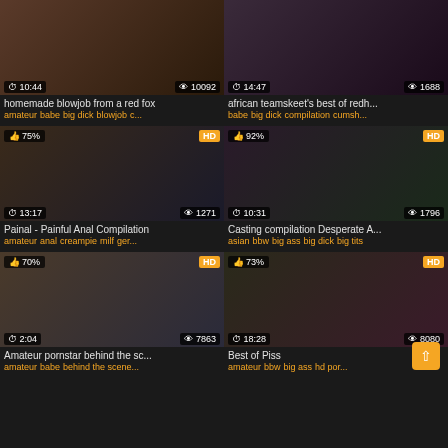[Figure (screenshot): Video thumbnail grid - top left: homemade blowjob, 10:44, 10092 views]
homemade blowjob from a red fox
amateur babe big dick blowjob c...
[Figure (screenshot): Video thumbnail - african teamskeet, 14:47, 1688 views]
african teamskeet's best of redh...
babe big dick compilation cumsh...
[Figure (screenshot): Video thumbnail - Painal, 75% likes, HD, 13:17, 1271 views]
Painal - Painful Anal Compilation
amateur anal creampie milf ger...
[Figure (screenshot): Video thumbnail - Casting compilation, 92% likes, HD, 10:31, 1796 views]
Casting compilation Desperate A...
asian bbw big ass big dick big tits
[Figure (screenshot): Video thumbnail - Amateur pornstar, 70% likes, HD, 2:04, 7863 views]
Amateur pornstar behind the sc...
amateur babe behind the scene...
[Figure (screenshot): Video thumbnail - Best of Piss, 73% likes, HD, 18:28, 8080 views]
Best of Piss
amateur bbw big ass hd por...